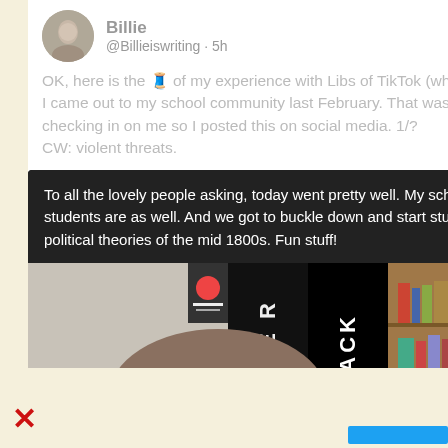[Figure (screenshot): Twitter/X screenshot showing a tweet by user 'Billie' (@Billieiswriting, 5h ago) with greyed-out text: 'OK, here is the [thread emoji] of my experience with Libs of TikTok (while it is down and hopefully stays that way). I came out to my school community last February. That was obviously nervous making and friends were checking in on me so I posted this on social media. 1/? CW: violent threats.' Below is an embedded image with a dark background text box reading: 'To all the lovely people asking, today went pretty well. My school was really supportive and a lot of the students are as well. And we got to buckle down and start studying history! WW1 and (in AP) the political theories of the mid 1800s. Fun stuff!' Below that is a cropped photo showing a person from behind, a bookshelf, and a BLACK LIVES MATTER banner.]
X (close/dismiss mark at bottom left)